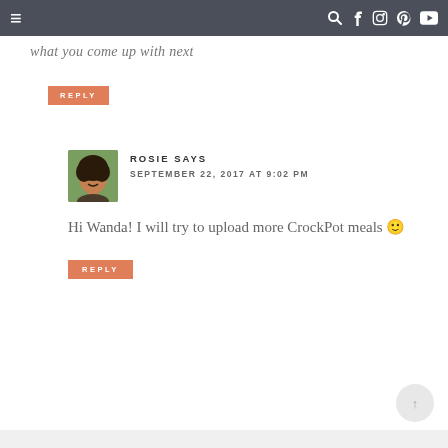≡  🔍 f 📷 p ▶
what you come up with next
REPLY
ROSIE SAYS
SEPTEMBER 22, 2017 AT 9:02 PM
Hi Wanda! I will try to upload more CrockPot meals 🙂
REPLY